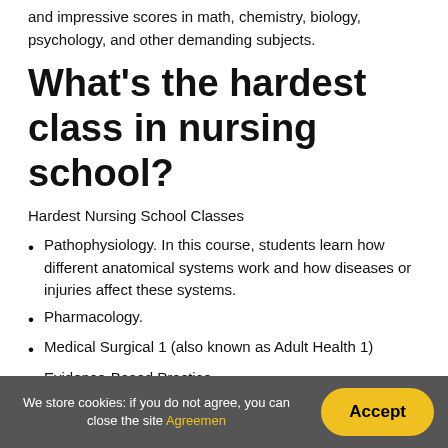and impressive scores in math, chemistry, biology, psychology, and other demanding subjects.
What's the hardest class in nursing school?
Hardest Nursing School Classes
Pathophysiology. In this course, students learn how different anatomical systems work and how diseases or injuries affect these systems.
Pharmacology.
Medical Surgical 1 (also known as Adult Health 1)
Evidence-Based Practice.
We store cookies: if you do not agree, you can close the site Agreemen